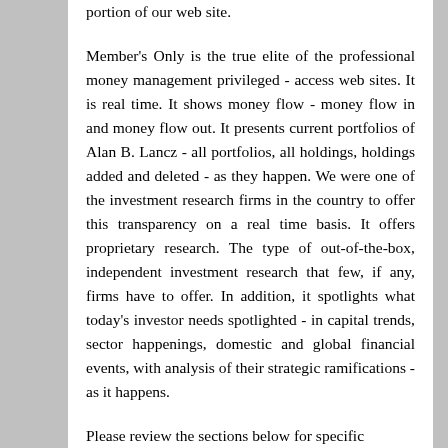portion of our web site.
Member's Only is the true elite of the professional money management privileged - access web sites. It is real time. It shows money flow - money flow in and money flow out. It presents current portfolios of Alan B. Lancz - all portfolios, all holdings, holdings added and deleted - as they happen. We were one of the investment research firms in the country to offer this transparency on a real time basis. It offers proprietary research. The type of out-of-the-box, independent investment research that few, if any, firms have to offer. In addition, it spotlights what today's investor needs spotlighted - in capital trends, sector happenings, domestic and global financial events, with analysis of their strategic ramifications - as it happens.
Please review the sections below for specific